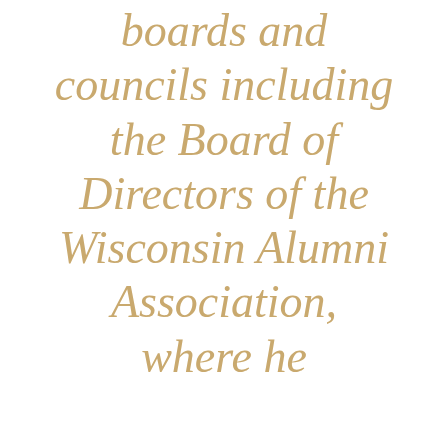boards and councils including the Board of Directors of the Wisconsin Alumni Association, where he